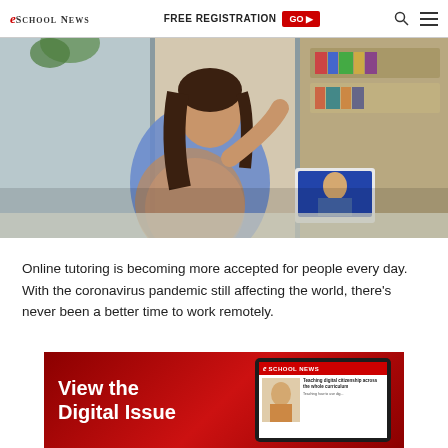eSchool News | FREE REGISTRATION GO
[Figure (photo): Woman at a desk with a tablet participating in a video call, with bookshelves visible in the background, in a home office setting.]
Online tutoring is becoming more accepted for people every day. With the coronavirus pandemic still affecting the world, there’s never been a better time to work remotely.
[Figure (photo): Advertisement banner: View the Digital Issue – eSchool News, showing a tablet with a child on the cover and text 'Teaching digital citizenship across the whole curriculum']